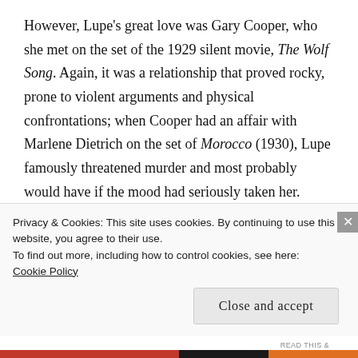However, Lupe's great love was Gary Cooper, who she met on the set of the 1929 silent movie, The Wolf Song. Again, it was a relationship that proved rocky, prone to violent arguments and physical confrontations; when Cooper had an affair with Marlene Dietrich on the set of Morocco (1930), Lupe famously threatened murder and most probably would have if the mood had seriously taken her.
Despite her best intentions, it was and Lupe...
Privacy & Cookies: This site uses cookies. By continuing to use this website, you agree to their use.
To find out more, including how to control cookies, see here:
Cookie Policy
Close and accept